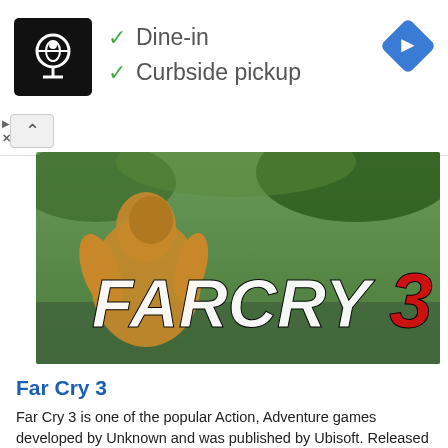[Figure (screenshot): Ad banner: restaurant logo (chef icon on black background), checkmarks for Dine-in and Curbside pickup, blue diamond navigation icon]
✓ Dine-in
✓ Curbside pickup
[Figure (photo): Far Cry 3 game promotional banner showing muscular character with jungle background and Far Cry 3 logo]
Far Cry 3
Far Cry 3 is one of the popular Action, Adventure games developed by Unknown and was published by Ubisoft. Released in 04 Dec 2012, it has a huge number of players who regularly play it. With the…
Read more...
Similar games